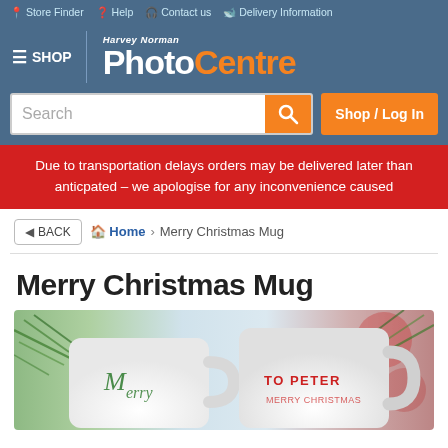Store Finder  Help  Contact us  Delivery Information
[Figure (logo): Harvey Norman PhotoCentre logo — 'Harvey Norman' in small white italic text above large 'Photo' in white bold and 'Centre' in orange bold]
SHOP
Search
Shop / Log In
Due to transportation delays orders may be delivered later than anticpated – we apologise for any inconvenience caused
BACK  Home › Merry Christmas Mug
Merry Christmas Mug
[Figure (photo): Two white coffee mugs with Christmas decorations (pine branches, red bokeh background). Left mug has green cursive writing. Right mug shows 'TO PETER' in red text with additional text below.]